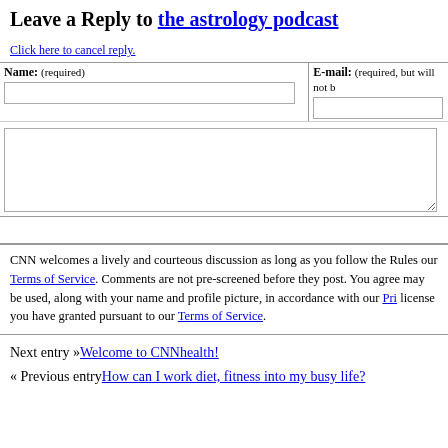Leave a Reply to the astrology podcast
Click here to cancel reply.
| Name: (required) | E-mail: (required, but will not ... |
| --- | --- |
| [input field] | [input field] |
[comment textarea]
[URL field]
CNN welcomes a lively and courteous discussion as long as you follow the Rules our Terms of Service. Comments are not pre-screened before they post. You agree may be used, along with your name and profile picture, in accordance with our Pri license you have granted pursuant to our Terms of Service.
Next entry »Welcome to CNNhealth!
« Previous entryHow can I work diet, fitness into my busy life?